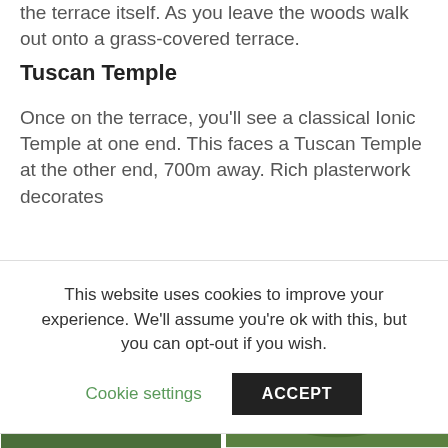the terrace itself. As you leave the woods walk out onto a grass-covered terrace.
Tuscan Temple
Once on the terrace, you'll see a classical Ionic Temple at one end. This faces a Tuscan Temple at the other end, 700m away. Rich plasterwork decorates...
This website uses cookies to improve your experience. We'll assume you're ok with this, but you can opt-out if you wish.
[Figure (photo): Classical Ionic temple with columns and steps, surrounded by bare trees, blue sky]
[Figure (photo): Aerial or elevated view of a large manor house surrounded by green hillside and trees]